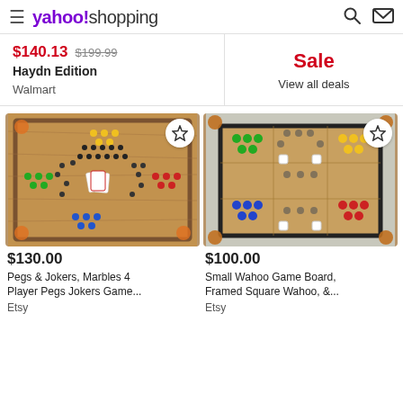yahoo! shopping
$140.13  $199.99
Haydn Edition
Walmart
Sale
View all deals
[Figure (photo): Pegs & Jokers wooden board game with colorful marbles and playing cards]
[Figure (photo): Small Wahoo game board, framed square with colorful marbles]
$130.00
Pegs & Jokers, Marbles 4 Player Pegs Jokers Game...
Etsy
$100.00
Small Wahoo Game Board, Framed Square Wahoo, &...
Etsy